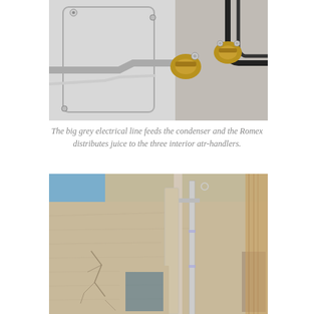[Figure (photo): Close-up photograph of an electrical condenser connection panel showing two brass fittings/valves, a grey electrical line, and Romex wiring against a white appliance housing with screws visible.]
The big grey electrical line feeds the condenser and the Romex distributes juice to the three interior atr-handlers.
[Figure (photo): Exterior photograph of a building with stucco/textured beige walls showing a vertical conduit/pipe run along the wall, a doorframe, visible cracks in the stucco, and exposed wood framing on the right side. Blue sky visible in upper left corner.]